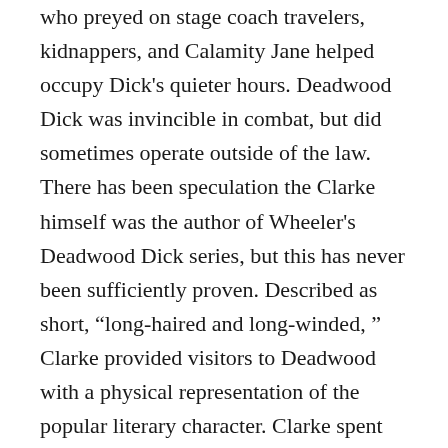who preyed on stage coach travelers, kidnappers, and Calamity Jane helped occupy Dick's quieter hours. Deadwood Dick was invincible in combat, but did sometimes operate outside of the law. There has been speculation the Clarke himself was the author of Wheeler's Deadwood Dick series, but this has never been sufficiently proven. Described as short, “long-haired and long-winded, ” Clarke provided visitors to Deadwood with a physical representation of the popular literary character. Clarke spent some time traveling with Buffalo Bills Wild West show. The show played to the American fascination with the West and frontier life, and was a circus-like attraction featuring recreations of life in the West, shooting contests, displays of horsemanship, and usually closing with a staged Amerindian attack on a settler cabin. He proved popular with audiences, and achieved some success with his own spinoff show. In his later years, he was employed